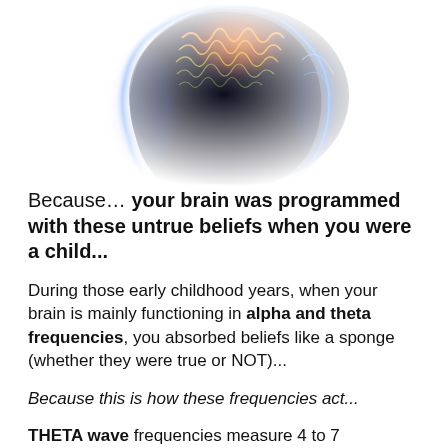[Figure (illustration): A glowing brain illustration inside a dark human head silhouette outlined in blue neon light, with orange/red brain wave activity lines visible at the top of the brain, set against a white background.]
Because… your brain was programmed with these untrue beliefs when you were a child...
During those early childhood years, when your brain is mainly functioning in alpha and theta frequencies, you absorbed beliefs like a sponge (whether they were true or NOT)...
Because this is how these frequencies act...
THETA wave frequencies measure 4 to 7